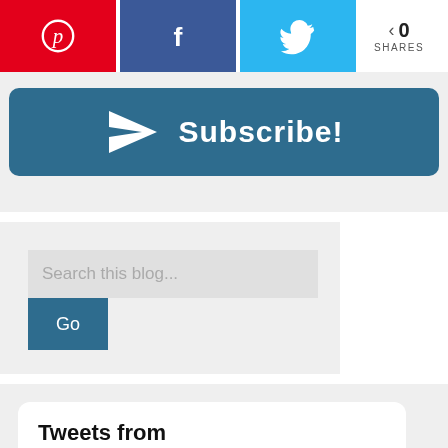[Figure (screenshot): Social share bar with Pinterest (red), Facebook (dark blue), Twitter (light blue) buttons and share count showing 0 SHARES]
[Figure (screenshot): Subscribe button with paper airplane icon on dark blue/teal background]
[Figure (screenshot): Search this blog input field with Go button]
Tweets from @smartonmoney